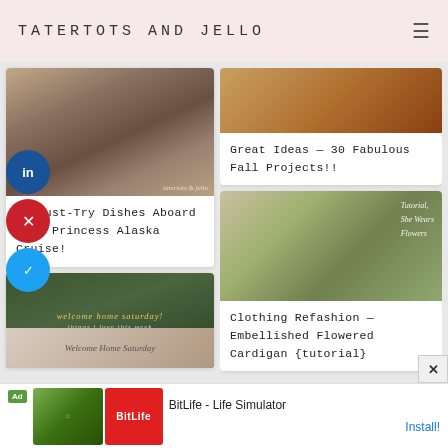TATERTOTS AND JELLO
[Figure (photo): Burger/biscuit sandwich with melted cheese on a dark plate]
10 Must-Try Dishes Aboard Ruby Princess Alaska Cruise!
[Figure (photo): Welcome Home Saturday banner with fall leaves and home interior]
[Figure (photo): Autumn/fall themed project image]
Great Ideas — 30 Fabulous Fall Projects!!
[Figure (photo): Woman wearing embellished flower cardigan in a field of sunflowers, Tutorial She Wears Flowers text overlay]
Clothing Refashion — Embellished Flowered Cardigan {tutorial}
[Figure (photo): Partially visible image at bottom right]
BitLife - Life Simulator
Install!